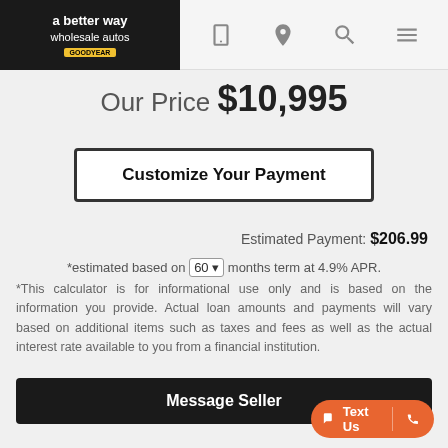[Figure (logo): A Better Way Wholesale Autos logo with Goodyear badge on dark background]
Our Price $10,995
Customize Your Payment
Estimated Payment: $206.99
*estimated based on 60 months term at 4.9% APR.
*This calculator is for informational use only and is based on the information you provide. Actual loan amounts and payments will vary based on additional items such as taxes and fees as well as the actual interest rate available to you from a financial institution.
Message Seller
Call: 203-720-5600